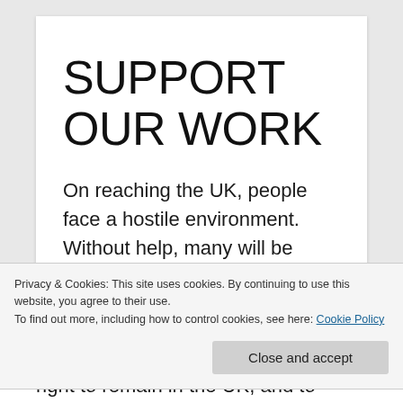SUPPORT OUR WORK
On reaching the UK, people face a hostile environment. Without help, many will be forcibly sent
Privacy & Cookies: This site uses cookies. By continuing to use this website, you agree to their use.
To find out more, including how to control cookies, see here: Cookie Policy
right to remain in the UK, and to